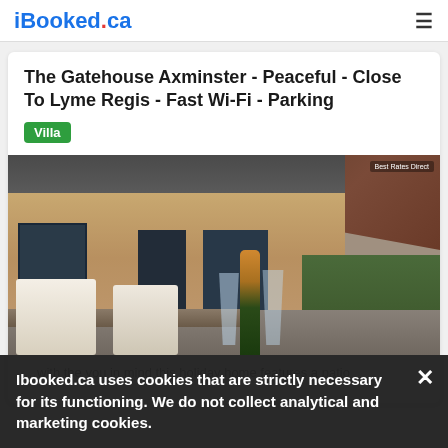iBooked.ca
The Gatehouse Axminster - Peaceful - Close To Lyme Regis - Fast Wi-Fi - Parking
Villa
[Figure (photo): Exterior photo of The Gatehouse Axminster showing a modern timber-clad building with sliding glass doors, outdoor patio furniture, champagne bottle and glasses on a table, and a large patio umbrella overhead. Green hedge visible in background.]
Ibooked.ca uses cookies that are strictly necessary for its functioning. We do not collect analytical and marketing cookies.